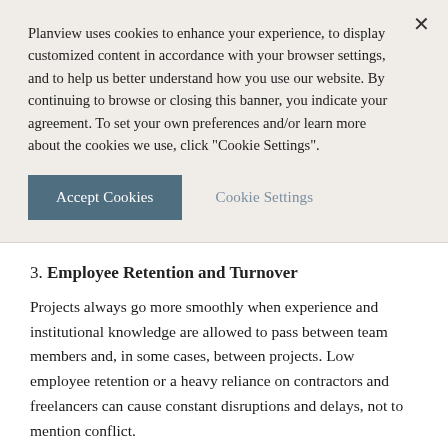Planview uses cookies to enhance your experience, to display customized content in accordance with your browser settings, and to help us better understand how you use our website. By continuing to browse or closing this banner, you indicate your agreement. To set your own preferences and/or learn more about the cookies we use, click "Cookie Settings".
Accept Cookies | Cookie Settings
3. Employee Retention and Turnover
Projects always go more smoothly when experience and institutional knowledge are allowed to pass between team members and, in some cases, between projects. Low employee retention or a heavy reliance on contractors and freelancers can cause constant disruptions and delays, not to mention conflict.